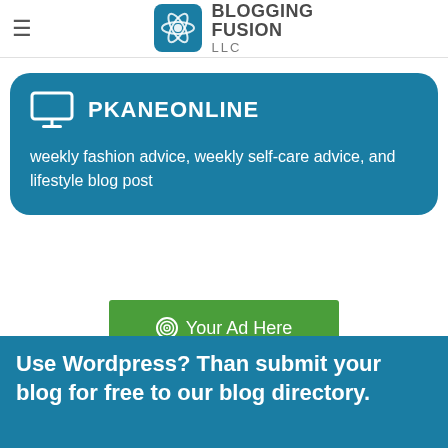BLOGGING FUSION LLC
PKANEONLINE
weekly fashion advice, weekly self-care advice, and lifestyle blog post
[Figure (other): Green advertisement banner with target/circle icon and text: Your Ad Here]
Use Wordpress? Than submit your blog for free to our blog directory.